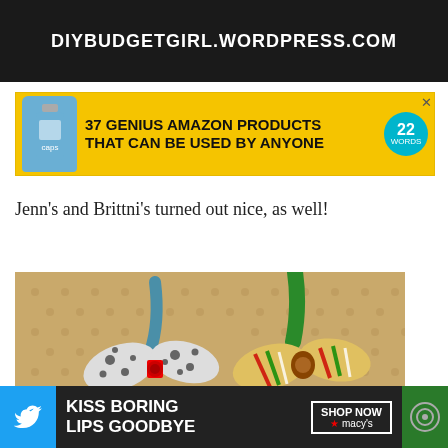[Figure (screenshot): Dark banner with white bold text: DIYBUDGETGIRL.WORDPRESS.COM]
[Figure (screenshot): Yellow advertisement banner: 37 GENIUS AMAZON PRODUCTS THAT CAN BE USED BY ANYONE, with teal badge showing 22 WORDS]
Jenn’s and Brittni’s turned out nice, as well!
[Figure (photo): Photo of two fabric hair bows on a yellow/tan knitted surface. Left bow is black and white spotted with blue ribbon and red center button. Right bow is colorful striped with green satin ribbon.]
This website uses cookies to improve your experience. We’ll assume you’re ok with this, but you can opt-out if you wish.
[Figure (screenshot): Bottom advertisement bar showing Twitter icon, KISS BORING LIPS GOODBYE ad text, SHOP NOW button with Macy's logo, and a circular icon on green background.]